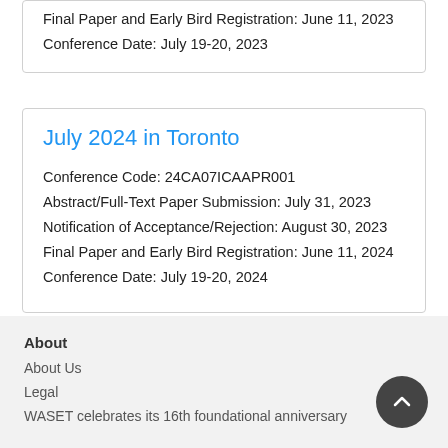Final Paper and Early Bird Registration: June 11, 2023
Conference Date: July 19-20, 2023
July 2024 in Toronto
Conference Code: 24CA07ICAAPR001
Abstract/Full-Text Paper Submission: July 31, 2023
Notification of Acceptance/Rejection: August 30, 2023
Final Paper and Early Bird Registration: June 11, 2024
Conference Date: July 19-20, 2024
About
About Us
Legal
WASET celebrates its 16th foundational anniversary